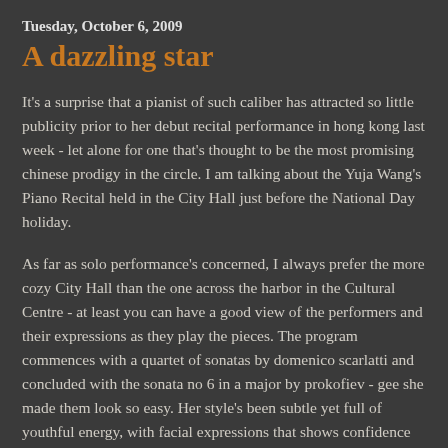Tuesday, October 6, 2009
A dazzling star
It's a surprise that a pianist of such caliber has attracted so little publicity prior to her debut recital performance in hong kong last week - let alone for one that's thought to be the most promising chinese prodigy in the circle. I am talking about the Yuja Wang's Piano Recital held in the City Hall just before the National Day holiday.
As far as solo performance's concerned, I always prefer the more cozy City Hall than the one across the harbor in the Cultural Centre - at least you can have a good view of the performers and their expressions as they play the pieces. The program commences with a quartet of sonatas by domenico scarlatti and concluded with the sonata no 6 in a major by prokofiev - gee she made them look so easy. Her style's been subtle yet full of youthful energy, with facial expressions that shows confidence and passion without pretentions or arrogance. Finesse usually is the word rarely used to describe a young artist but on this occasion, it seems to be a perfect one. It's